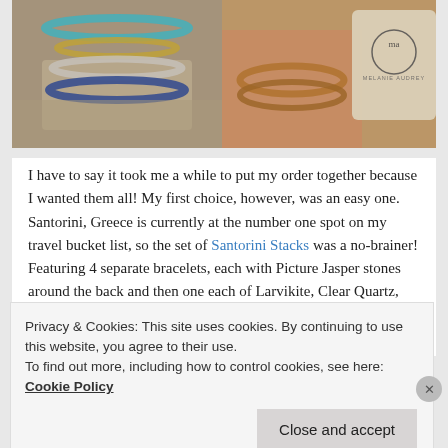[Figure (photo): Two photos side by side: left shows beaded bracelets with turquoise and blue stones on a linen surface; right shows a wrist wearing beaded bracelets near a linen pouch with 'Melanie Aubert' branding]
I have to say it took me a while to put my order together because I wanted them all! My first choice, however, was an easy one. Santorini, Greece is currently at the number one spot on my travel bucket list, so the set of Santorini Stacks was a no-brainer! Featuring 4 separate bracelets, each with Picture Jasper stones around the back and then one each of Larvikite, Clear Quartz, Larimar & Lapis Lazuli on front. Each stone has a wonderful meaning and worn all together, they are perfect!
Privacy & Cookies: This site uses cookies. By continuing to use this website, you agree to their use.
To find out more, including how to control cookies, see here: Cookie Policy